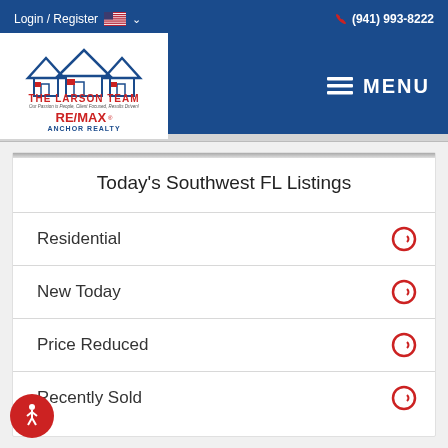Login / Register  (941) 993-8222
[Figure (logo): The Larson Team RE/MAX Anchor Realty logo with house icon]
Today's Southwest FL Listings
Residential
New Today
Price Reduced
Recently Sold